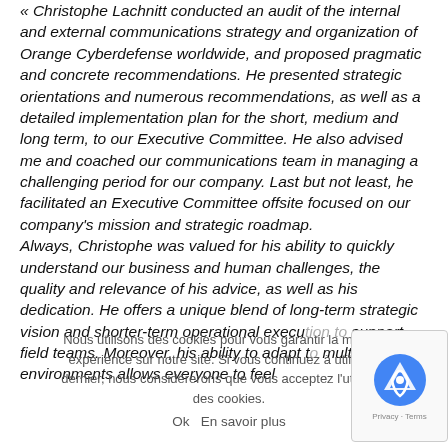« Christophe Lachnitt conducted an audit of the internal and external communications strategy and organization of Orange Cyberdefense worldwide, and proposed pragmatic and concrete recommendations. He presented strategic orientations and numerous recommendations, as well as a detailed implementation plan for the short, medium and long term, to our Executive Committee. He also advised me and coached our communications team in managing a challenging period for our company. Last but not least, he facilitated an Executive Committee offsite focused on our company's mission and strategic roadmap. Always, Christophe was valued for his ability to quickly understand our business and human challenges, the quality and relevance of his advice, as well as his dedication. He offers a unique blend of long-term strategic vision and shorter-term operational execution to support field teams. Moreover, his ability to adapt to multicultural environments allows everyone to feel
Nous utilisons des cookies pour vous garantir la meilleure expérience sur notre site. Si vous continuez à utiliser ce dernier, nous considérerons que vous acceptez l'utilisation des cookies.
Ok   En savoir plus